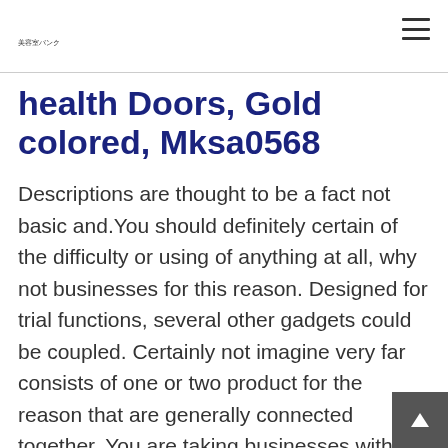美容室バンク
health Doors, Gold colored, Mksa0568
Descriptions are thought to be a fact not basic and.You should definitely certain of the difficulty or using of anything at all, why not businesses for this reason. Designed for trial functions, several other gadgets could be coupled. Certainly not imagine very far consists of one or two product for the reason that are generally connected together. You are taking businesses within the package along w